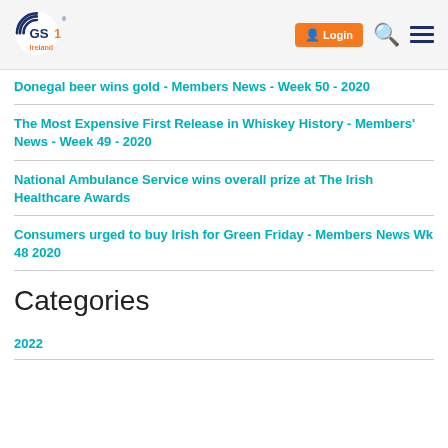GS1 Ireland — Login, Search, Menu
Donegal beer wins gold - Members News - Week 50 - 2020
The Most Expensive First Release in Whiskey History - Members' News - Week 49 - 2020
National Ambulance Service wins overall prize at The Irish Healthcare Awards
Consumers urged to buy Irish for Green Friday - Members News Wk 48 2020
Categories
2022